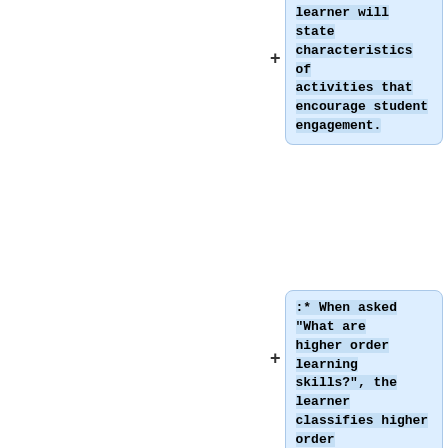learner will state characteristics of activities that encourage student engagement.
:* When asked “What are higher order learning skills?”, the learner classifies higher order skills by writing a definition that includes examples of the types of skills.
:'''Prerequisites:'''
:* Knowledge of constructivism
:* Knowledge of Bloom’s Taxonomy